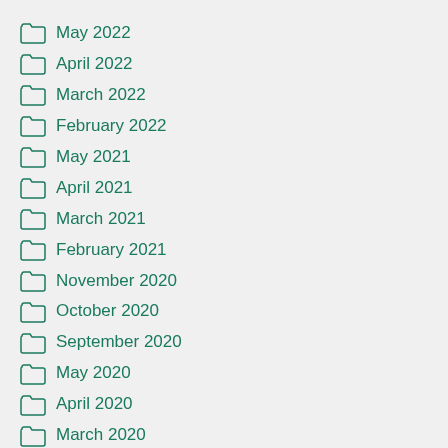May 2022
April 2022
March 2022
February 2022
May 2021
April 2021
March 2021
February 2021
November 2020
October 2020
September 2020
May 2020
April 2020
March 2020
February 2020